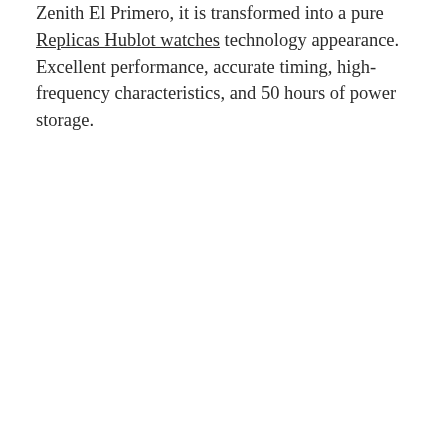Zenith El Primero, it is transformed into a pure Replicas Hublot watches technology appearance. Excellent performance, accurate timing, high-frequency characteristics, and 50 hours of power storage.